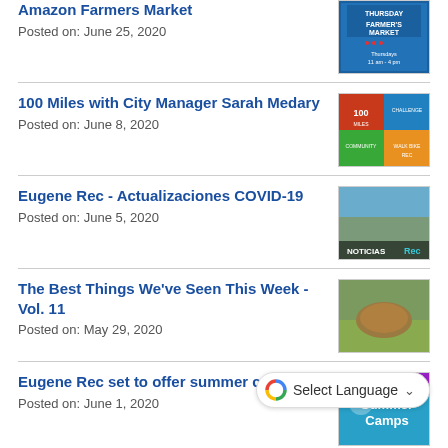Amazon Farmers Market
Posted on: June 25, 2020
100 Miles with City Manager Sarah Medary
Posted on: June 8, 2020
Eugene Rec - Actualizaciones COVID-19
Posted on: June 5, 2020
The Best Things We've Seen This Week - Vol. 11
Posted on: May 29, 2020
Eugene Rec set to offer summer camps
Posted on: June 1, 2020
Eugene Rec está listo para ofrecer